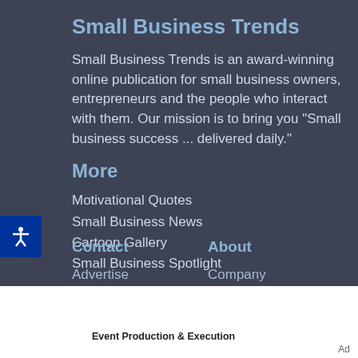Small Business Trends
Small Business Trends is an award-winning online publication for small business owners, entrepreneurs and the people who interact with them. Our mission is to bring you "Small business success ... delivered daily."
More
Motivational Quotes
Small Business News
Cartoon Gallery
Small Business Spotlight
Contact    About
Advertise    Company
[Figure (screenshot): Green OPEN button advertisement with play/skip icons, followed by 'Event Production & Execution' text and Ad label]
Ad